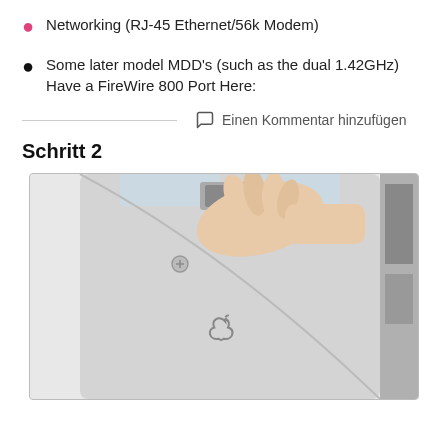Networking (RJ-45 Ethernet/56k Modem)
Some later model MDD's (such as the dual 1.42GHz) Have a FireWire 800 Port Here:
Einen Kommentar hinzufügen
Schritt 2
[Figure (photo): A hand pressing the latch/button on the back panel of an Apple Power Mac G4 (MDD) tower computer, showing the silver case with the Apple logo embossed on it.]